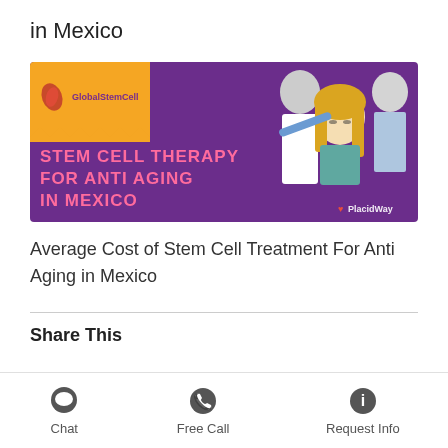in Mexico
[Figure (illustration): Promotional banner for Stem Cell Therapy for Anti Aging in Mexico by GlobalStemCell and PlacidWay. Purple background with text 'STEM CELL THERAPY FOR ANTI AGING IN MEXICO' in orange/pink. Right side shows a blonde woman patient being examined by medical professionals.]
Average Cost of Stem Cell Treatment For Anti Aging in Mexico
Share This
Chat | Free Call | Request Info